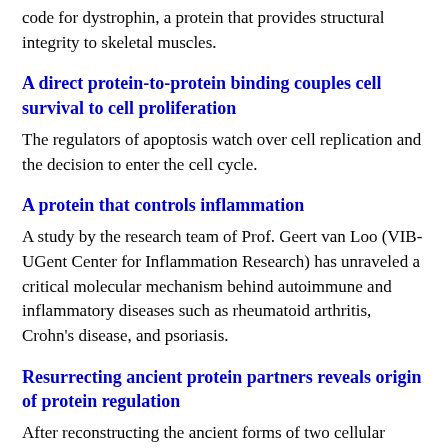code for dystrophin, a protein that provides structural integrity to skeletal muscles.
A direct protein-to-protein binding couples cell survival to cell proliferation
The regulators of apoptosis watch over cell replication and the decision to enter the cell cycle.
A protein that controls inflammation
A study by the research team of Prof. Geert van Loo (VIB-UGent Center for Inflammation Research) has unraveled a critical molecular mechanism behind autoimmune and inflammatory diseases such as rheumatoid arthritis, Crohn's disease, and psoriasis.
Resurrecting ancient protein partners reveals origin of protein regulation
After reconstructing the ancient forms of two cellular